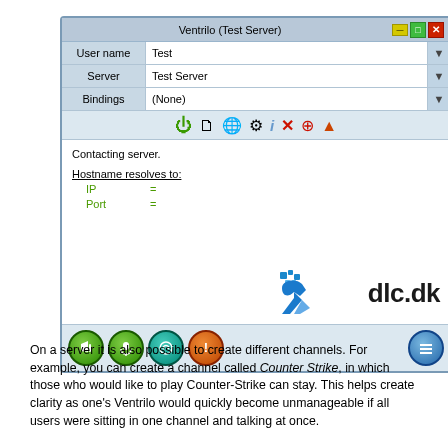[Figure (screenshot): Ventrilo application window showing Test Server connection interface with User name: Test, Server: Test Server, Bindings: (None), toolbar icons, connection status showing Contacting server and Hostname resolves to with IP and Port fields, dlc.dk logo watermark, and bottom control buttons]
On a server it is also possible to create different channels. For example, you can create a channel called Counter Strike, in which those who would like to play Counter-Strike can stay. This helps create clarity as one's Ventrilo would quickly become unmanageable if all users were sitting in one channel and talking at once.